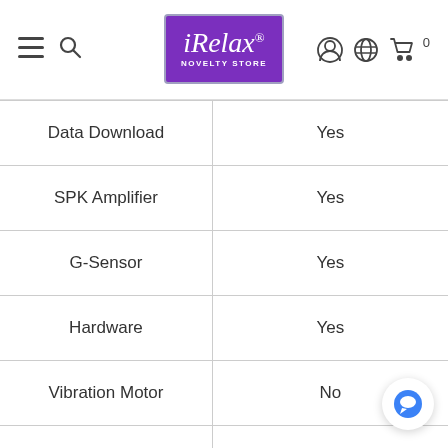iRelax Novelty Store navigation bar
| Feature | Value |
| --- | --- |
| Data Download | Yes |
| SPK Amplifier | Yes |
| G-Sensor | Yes |
| Hardware | Yes |
| Vibration Motor | No |
| Headphone | No |
| USB | No |